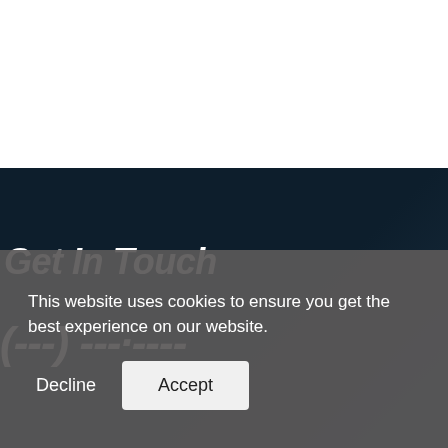[Figure (photo): White area at top of page, representing upper portion of a website screenshot]
[Figure (photo): Dark navy background section suggesting a dimly lit indoor scene with silhouetted figures]
Get In Touch
(---) ---·----
This website uses cookies to ensure you get the best experience on our website.
Decline
Accept